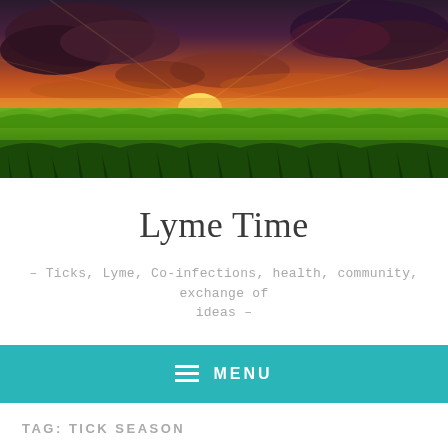[Figure (photo): Landscape photo of a green grass field under a dramatic sky with orange and purple sunset clouds]
Lyme Time
- Ticks, Lyme, Co-infections, health, community, exchange of ideas -
≡ MENU
TAG: TICK SEASON